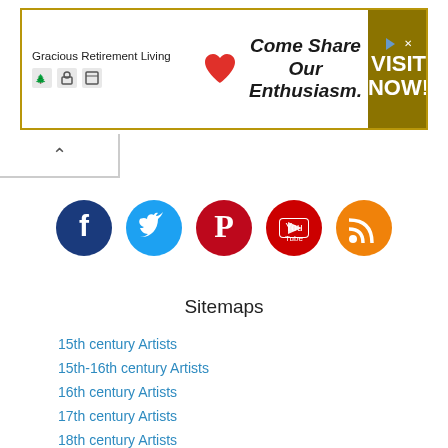[Figure (infographic): Advertisement banner for Gracious Retirement Living with red heart logo, tagline 'Come Share Our Enthusiasm.' and golden 'VISIT NOW!' call-to-action button]
[Figure (infographic): Social media icon row: Facebook (dark blue), Twitter (light blue), Pinterest (red), YouTube (red), RSS feed (orange)]
Sitemaps
15th century Artists
15th-16th century Artists
16th century Artists
17th century Artists
18th century Artists
18th-19th century Artists
19th century Art
19th-20th century Artists
20th century Artists
20th-21th century Artists
21st Century Artists
A New - Second Site for Tutt'Art@
Abstract Artists